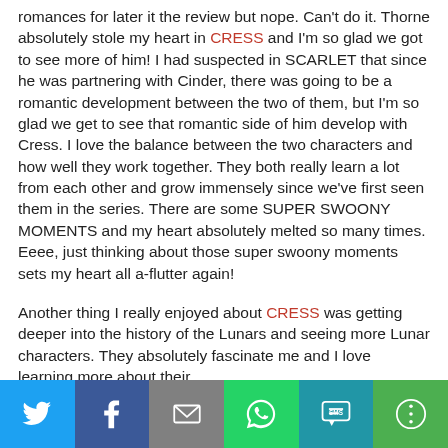romances for later it the review but nope. Can't do it. Thorne absolutely stole my heart in CRESS and I'm so glad we got to see more of him! I had suspected in SCARLET that since he was partnering with Cinder, there was going to be a romantic development between the two of them, but I'm so glad we get to see that romantic side of him develop with Cress. I love the balance between the two characters and how well they work together. They both really learn a lot from each other and grow immensely since we've first seen them in the series. There are some SUPER SWOONY MOMENTS and my heart absolutely melted so many times. Eeee, just thinking about those super swoony moments sets my heart all a-flutter again!
Another thing I really enjoyed about CRESS was getting deeper into the history of the Lunars and seeing more Lunar characters. They absolutely fascinate me and I love learning more about their